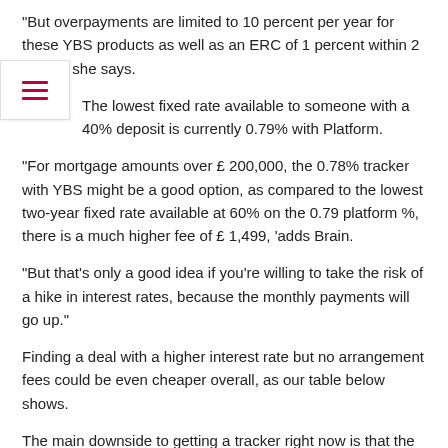“But overpayments are limited to 10 percent per year for these YBS products as well as an ERC of 1 percent within 2 years,” she says.
The lowest fixed rate available to someone with a 40% deposit is currently 0.79% with Platform.
“For mortgage amounts over £ 200,000, the 0.78% tracker with YBS might be a good option, as compared to the lowest two-year fixed rate available at 60% on the 0.79 platform %, there is a much higher fee of £ 1,499, ‘adds Brain.
“But that’s only a good idea if you’re willing to take the risk of a hike in interest rates, because the monthly payments will go up.”
Finding a deal with a higher interest rate but no arrangement fees could be even cheaper overall, as our table below shows.
The main downside to getting a tracker right now is that the base rate could change quite quickly.